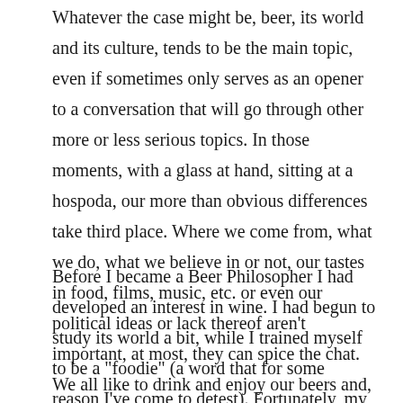Whatever the case might be, beer, its world and its culture, tends to be the main topic, even if sometimes only serves as an opener to a conversation that will go through other more or less serious topics. In those moments, with a glass at hand, sitting at a hospoda, our more than obvious differences take third place. Where we come from, what we do, what we believe in or not, our tastes in food, films, music, etc. or even our political ideas or lack thereof aren't important, at most, they can spice the chat. We all like to drink and enjoy our beers and, there and then, that is the thing truly matters.
Before I became a Beer Philosopher I had developed an interest in wine. I had begun to study its world a bit, while I trained myself to be a "foodie" (a word that for some reason I've come to detest). Fortunately, my finances